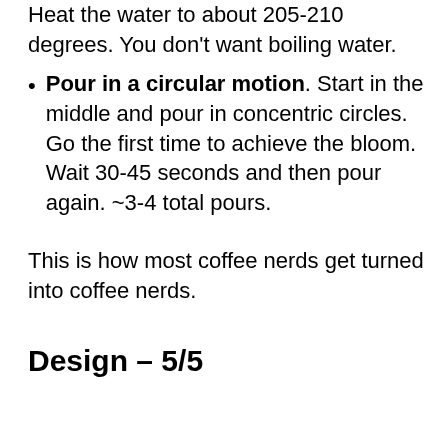Heat the water to about 205-210 degrees. You don't want boiling water.
Pour in a circular motion. Start in the middle and pour in concentric circles. Go the first time to achieve the bloom. Wait 30-45 seconds and then pour again. ~3-4 total pours.
This is how most coffee nerds get turned into coffee nerds.
Design – 5/5